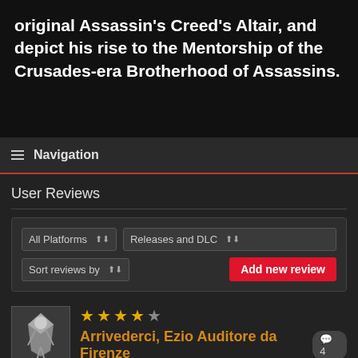original Assassin's Creed's Altair, and depict his rise to the Mentorship of the Crusades-era Brotherhood of Assassins.
Navigation
User Reviews
All Platforms | Releases and DLC | Sort reviews by | Add new review
[Figure (illustration): Avatar icon showing an assassin character in white cloak with hood, stylized game art thumbnail]
Arrivederci, Ezio Auditore da Firenze
Assassin's Creed: Revelations(Xbox 360) by electricboogaloo on November 24, 2011
Assassins Creed: Brotherhood was a genuine surprise last year, dismissing worries over its short development cycle by building on